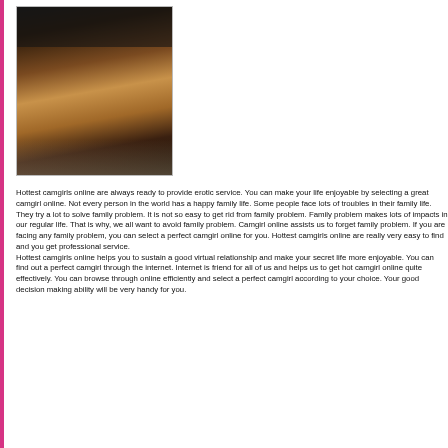[Figure (photo): Photo of a woman in black lingerie posed on a bed, shot from behind]
Hottest camgirls online are always ready to provide erotic service. You can make your life enjoyable by selecting a great camgirl online. Not every person in the world has a happy family life. Some people face lots of troubles in their family life. They try a lot to solve family problem. It is not so easy to get rid from family problem. Family problem makes lots of impacts in our regular life. That is why, we all want to avoid family problem. Camgirl online assists us to forget family problem. If you are facing any family problem, you can select a perfect camgirl online for you. Hottest camgirls online are really very easy to find and you get professional service.
Hottest camgirls online helps you to sustain a good virtual relationship and make your secret life more enjoyable. You can find out a perfect camgirl through the internet. Internet is friend for all of us and helps us to get hot camgirl online quite effectively. You can browse through online efficiently and select a perfect camgirl according to your choice. Your good decision making ability will be very handy for you.